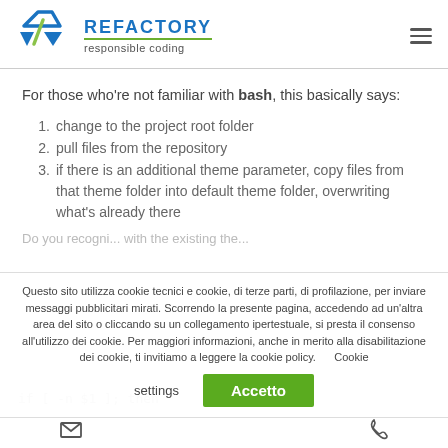[Figure (logo): Refactory logo with triangular shapes in blue and green, text REFACTORY in blue and 'responsible coding' tagline]
For those who're not familiar with bash, this basically says:
change to the project root folder
pull files from the repository
if there is an additional theme parameter, copy files from that theme folder into default theme folder, overwriting what's already there
Questo sito utilizza cookie tecnici e cookie, di terze parti, di profilazione, per inviare messaggi pubblicitari mirati. Scorrendo la presente pagina, accedendo ad un'altra area del sito o cliccando su un collegamento ipertestuale, si presta il consenso all'utilizzo dei cookie. Per maggiori informazioni, anche in merito alla disabilitazione dei cookie, ti invitiamo a leggere la cookie policy.      Cookie settings
if [ -n $1 ]; then
mail icon | phone icon